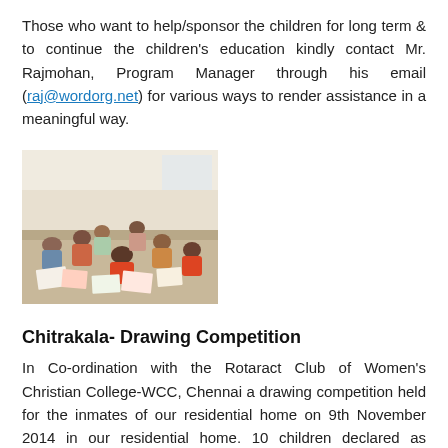Those who want to help/sponsor the children for long term & to continue the children's education kindly contact Mr. Rajmohan, Program Manager through his email (raj@wordorg.net) for various ways to render assistance in a meaningful way.
[Figure (photo): Children sitting on the floor drawing/doing art activities in a room]
Chitrakala- Drawing Competition
In Co-ordination with the Rotaract Club of Women's Christian College-WCC, Chennai a drawing competition held for the inmates of our residential home on 9th November 2014 in our residential home. 10 children declared as winners and they were felicitated from 20-30...